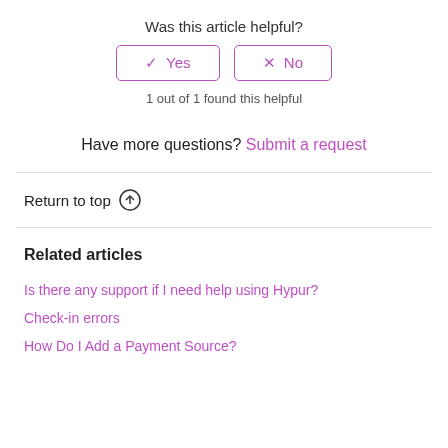Was this article helpful?
[Figure (other): Yes and No voting buttons with checkmark and X icons, styled with purple border]
1 out of 1 found this helpful
Have more questions? Submit a request
Return to top ↑
Related articles
Is there any support if I need help using Hypur?
Check-in errors
How Do I Add a Payment Source?